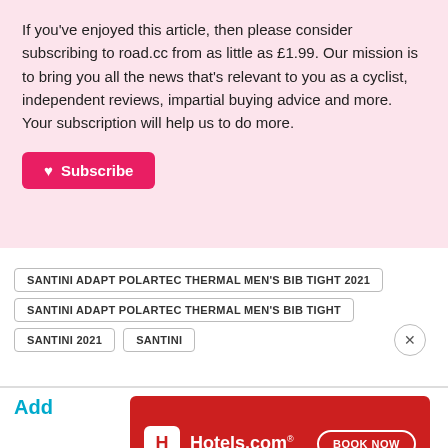If you've enjoyed this article, then please consider subscribing to road.cc from as little as £1.99. Our mission is to bring you all the news that's relevant to you as a cyclist, independent reviews, impartial buying advice and more. Your subscription will help us to do more.
♥ Subscribe
SANTINI ADAPT POLARTEC THERMAL MEN'S BIB TIGHT 2021
SANTINI ADAPT POLARTEC THERMAL MEN'S BIB TIGHT
SANTINI 2021   SANTINI
[Figure (screenshot): Hotels.com advertisement banner with red background, Hotels.com logo, and BOOK NOW button]